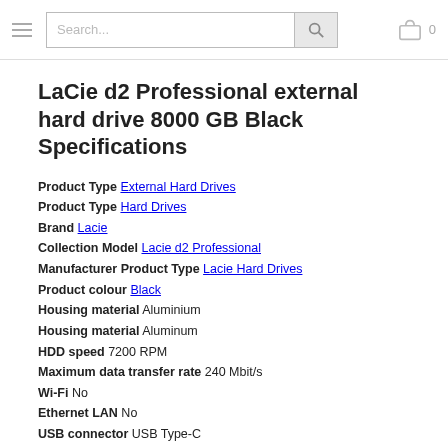Search...
LaCie d2 Professional external hard drive 8000 GB Black Specifications
Product Type External Hard Drives
Product Type Hard Drives
Brand Lacie
Collection Model Lacie d2 Professional
Manufacturer Product Type Lacie Hard Drives
Product colour Black
Housing material Aluminium
Housing material Aluminum
HDD speed 7200 RPM
Maximum data transfer rate 240 Mbit/s
Wi-Fi No
Ethernet LAN No
USB connector USB Type-C
Thunderbolt technology No
USB version 3.2 Gen 1 (3.1 Gen 1)
External power adapter Yes
Windows operating systems supported Windows 10
Mac operating systems supported Mac OS X 10.12 Sierra, Mac OS X 10.13 High Sierra, Mac OS X 10.14 Mojave